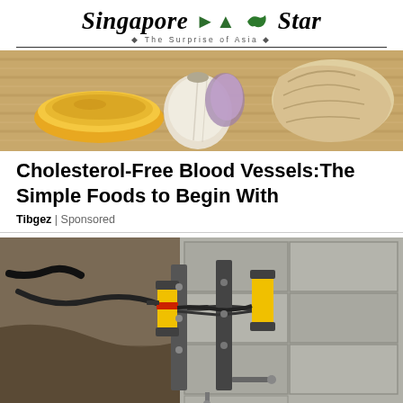Singapore Star — The Surprise of Asia
[Figure (photo): Photo of spices and garlic: a bowl of ground spice, whole garlic cloves, and a large shell on a woven mat background]
Cholesterol-Free Blood Vessels:The Simple Foods to Begin With
Tibgez | Sponsored
[Figure (photo): Photo of construction/engineering equipment — yellow and black hydraulic or sensor devices mounted on a concrete block wall at an excavation site, with cables and conduit]